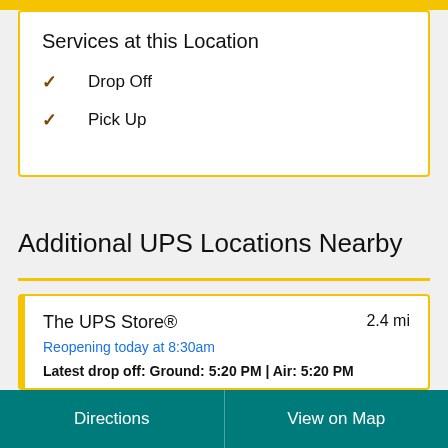Services at this Location
Drop Off
Pick Up
Additional UPS Locations Nearby
The UPS Store®
2.4 mi
Reopening today at 8:30am
Latest drop off: Ground: 5:20 PM | Air: 5:20 PM
Directions | View on Map